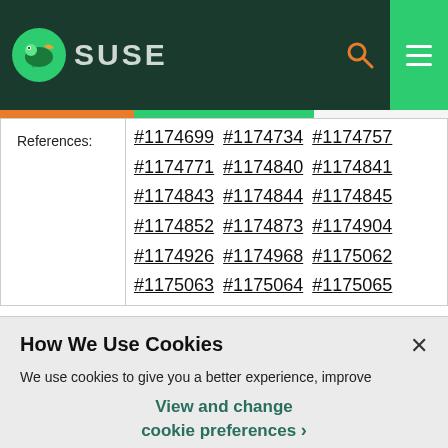[Figure (logo): SUSE logo with chameleon icon on dark green navigation bar with search and hamburger menu icons]
| References: | #1174699 #1174734 #1174757 #1174771 #1174840 #1174841 #1174843 #1174844 #1174845 #1174852 #1174873 #1174904 #1174926 #1174968 #1175062 #1175063 #1175064 #1175065 |
How We Use Cookies
We use cookies to give you a better experience, improve performance and analyze traffic. By using our website you agree to our use of cookies.
View and change cookie preferences >